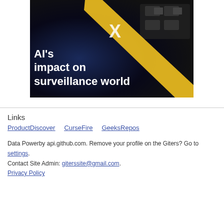[Figure (photo): Dark banner image with text 'AI’s impact on surveillance world' and a yellow diagonal stripe, X symbol, and surveillance cameras in the background]
Links
ProductDiscover    CurseFire    GeeksRepos
Data Powerby api.github.com. Remove your profile on the Giters? Go to settings. Contact Site Admin: giterssite@gmail.com. Privacy Policy